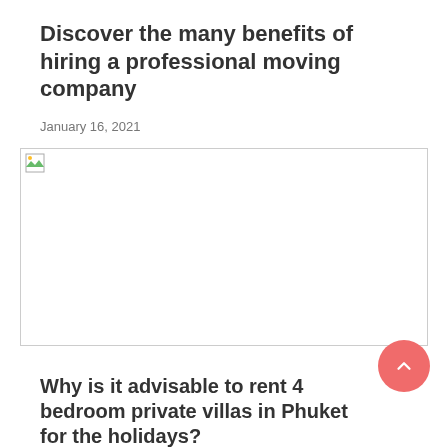Discover the many benefits of hiring a professional moving company
January 16, 2021
[Figure (photo): Broken/missing image placeholder with a small green icon in the top-left corner]
Why is it advisable to rent 4 bedroom private villas in Phuket for the holidays?
December 14, 2020